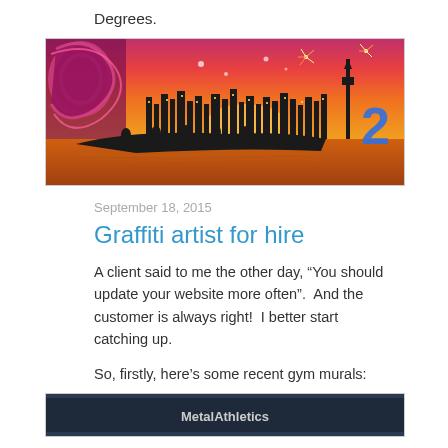Degrees.
[Figure (photo): A colorful mural depicting a Maori waka (canoe) with paddlers on water against a vivid orange/red sunset sky, with a city skyline silhouette, fireworks, and a large stylized number '2' in blue on the right side. Decorative Maori patterns are visible on the left.]
September 18, 2015
Graffiti artist for hire
A client said to me the other day, “You should update your website more often”.  And the customer is always right!  I better start catching up.
So, firstly, here’s some recent gym murals:
[Figure (photo): Partial view of a gym mural sign showing 'MetalAthletics' text on a dark background with metal/industrial styling.]